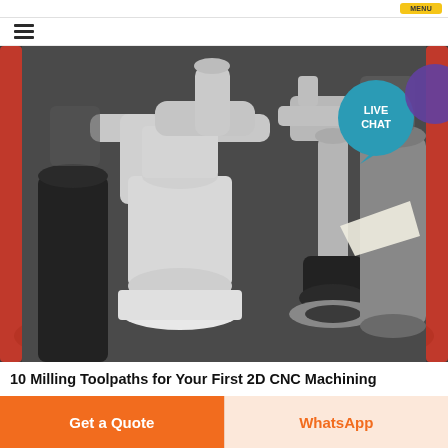[Figure (photo): Close-up photograph of CNC machine tool spindles and mechanical components inside a milling machine, showing white cylindrical tool holders, black cylindrical elements, and a red-framed machine interior. A 'LIVE CHAT' speech-bubble badge is overlaid in the top-right corner.]
10 Milling Toolpaths for Your First 2D CNC Machining